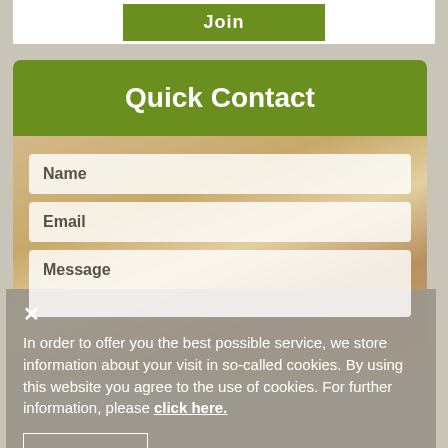[Figure (screenshot): A green Join button on a white background at the top of the page]
Quick Contact
[Figure (screenshot): Quick Contact form with Name, Email, and Message input fields over a blurred agricultural background image showing hay bales]
In order to offer you the best possible service, we store information about your visit in so-called cookies. By using this website you agree to the use of cookies. For further information, please click here.
I Agree